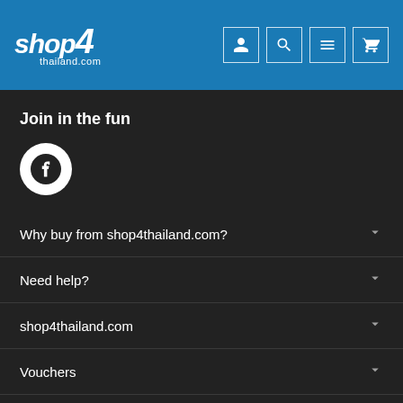[Figure (logo): shop4thailand.com logo in white italic text on blue header]
shop4thailand.com header with user, search, menu, and cart icons
Join in the fun
[Figure (logo): Facebook icon in a white circle on dark background]
Why buy from shop4thailand.com?
Need help?
shop4thailand.com
Vouchers
Legal stuff
Categories
Trending now